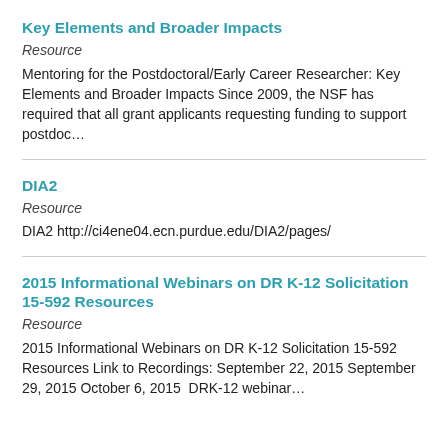Key Elements and Broader Impacts
Resource
Mentoring for the Postdoctoral/Early Career Researcher: Key Elements and Broader Impacts Since 2009, the NSF has required that all grant applicants requesting funding to support postdoc…
DIA2
Resource
DIA2 http://ci4ene04.ecn.purdue.edu/DIA2/pages/
2015 Informational Webinars on DR K-12 Solicitation 15-592 Resources
Resource
2015 Informational Webinars on DR K-12 Solicitation 15-592 Resources Link to Recordings: September 22, 2015 September 29, 2015 October 6, 2015  DRK-12 webinar…